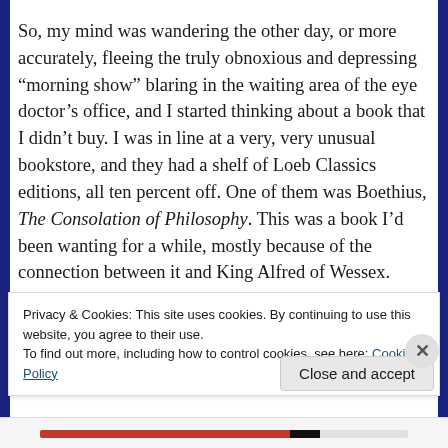So, my mind was wandering the other day, or more accurately, fleeing the truly obnoxious and depressing “morning show” blaring in the waiting area of the eye doctor’s office, and I started thinking about a book that I didn’t buy. I was in line at a very, very unusual bookstore, and they had a shelf of Loeb Classics editions, all ten percent off. One of them was Boethius, The Consolation of Philosophy. This was a book I’d been wanting for a while, mostly because of the connection between it and King Alfred of Wessex.
Privacy & Cookies: This site uses cookies. By continuing to use this website, you agree to their use.
To find out more, including how to control cookies, see here: Cookie Policy